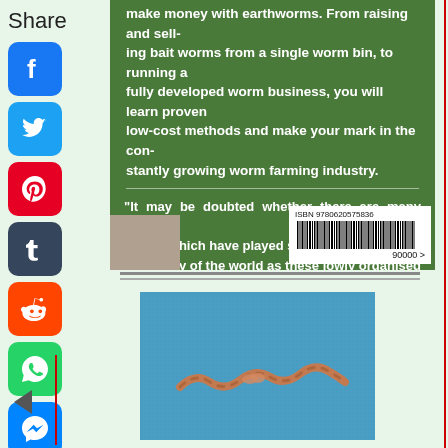Share
[Figure (screenshot): Back cover of a book about worm farming on green background. Contains text about making money with earthworms, a Charles Darwin quote about earthworms, and a barcode with ISBN 9780620575836.]
make money with earthworms. From raising and selling bait worms from a single worm bin, to running a fully developed worm business, you will learn proven low-cost methods and make your mark in the constantly growing worm farming industry.
“It may be doubted whether there are many other animals which have played so important a part in the history of the world as these lowly organised creatures”
CHARLES DARWIN ON EARTHWORMS
[Figure (photo): Photo of an earthworm on blue fabric/denim background]